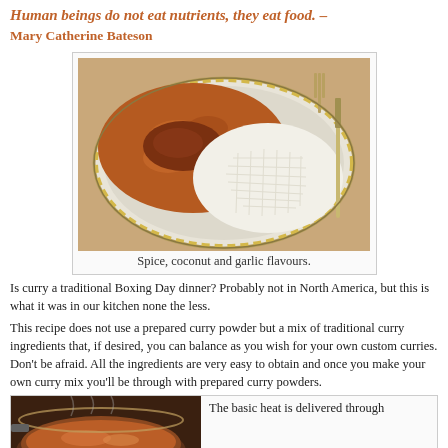Human beings do not eat nutrients, they eat food. – Mary Catherine Bateson
[Figure (photo): A plate with curry (orange-red sauce with meat) and white rice/noodles on a decorative plate, with cutlery visible in background.]
Spice, coconut and garlic flavours.
Is curry a traditional Boxing Day dinner? Probably not in North America, but this is what it was in our kitchen none the less.
This recipe does not use a prepared curry powder but a mix of traditional curry ingredients that, if desired, you can balance as you wish for your own custom curries. Don't be afraid. All the ingredients are very easy to obtain and once you make your own curry mix you'll be through with prepared curry powders.
[Figure (photo): A cooking pan or bowl with curry sauce being prepared, dark reddish-brown contents visible.]
The basic heat is delivered through